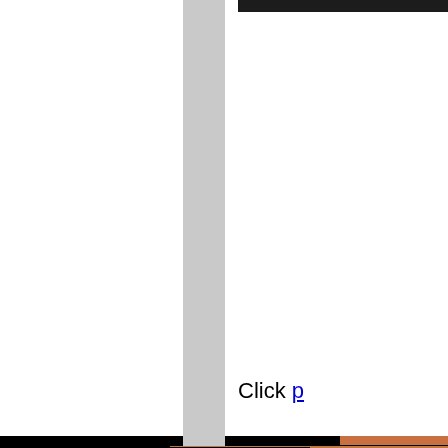[Figure (photo): Dark/black photo strip at top right corner of page]
Click p
[Figure (photo): Left portion shows black area, right portion shows a warm brown/copper colored background with white italic script text partially visible: 'T', '"Celebra', and '"Merry Ch']